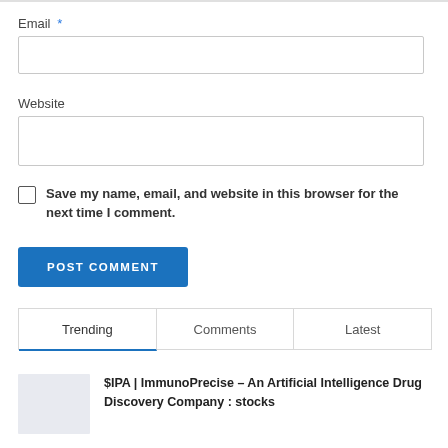Email *
Website
Save my name, email, and website in this browser for the next time I comment.
POST COMMENT
Trending	Comments	Latest
$IPA | ImmunoPrecise – An Artificial Intelligence Drug Discovery Company : stocks